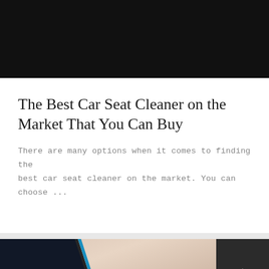[Figure (photo): Dark/black background image at top of page, partially visible]
The Best Car Seat Cleaner on the Market That You Can Buy
There are many options when it comes to finding the best car seat cleaner on the market. You can choose ...
[Figure (photo): Close-up photo of a smartphone with blue border showing screen with 9:13 PM time and apps & games text, with a blurred beige background]